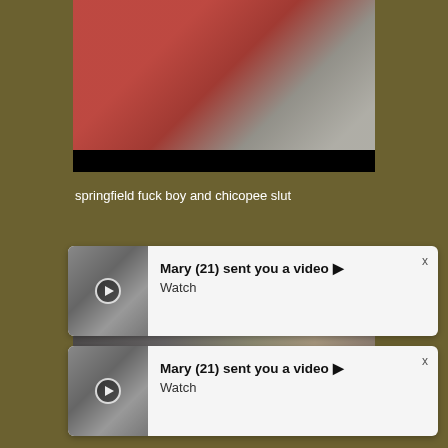[Figure (photo): Blurry photo with red and grey tones, black bar at bottom]
springfield fuck boy and chicopee slut
[Figure (screenshot): Notification card: Mary (21) sent you a video. Watch]
[Figure (screenshot): Notification card: Mary (21) sent you a video. Watch]